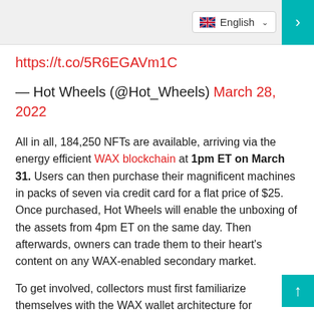English
https://t.co/5R6EGAVm1C
— Hot Wheels (@Hot_Wheels) March 28, 2022
All in all, 184,250 NFTs are available, arriving via the energy efficient WAX blockchain at 1pm ET on March 31. Users can then purchase their magnificent machines in packs of seven via credit card for a flat price of $25. Once purchased, Hot Wheels will enable the unboxing of the assets from 4pm ET on the same day. Then afterwards, owners can trade them to their heart's content on any WAX-enabled secondary market.
To get involved, collectors must first familiarize themselves with the WAX wallet architecture for...